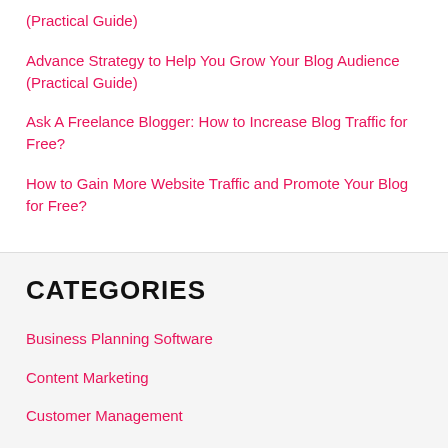(Practical Guide)
Advance Strategy to Help You Grow Your Blog Audience (Practical Guide)
Ask A Freelance Blogger: How to Increase Blog Traffic for Free?
How to Gain More Website Traffic and Promote Your Blog for Free?
CATEGORIES
Business Planning Software
Content Marketing
Customer Management